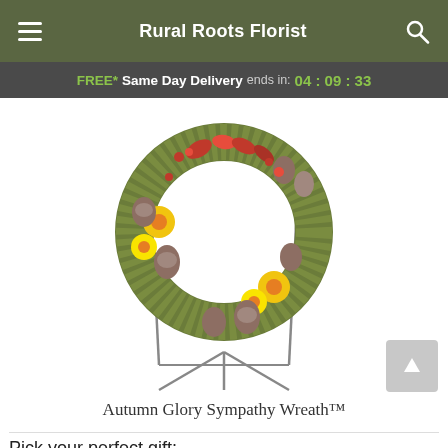Rural Roots Florist
FREE* Same Day Delivery ends in: 04:09:33
[Figure (photo): Autumn Glory Sympathy Wreath on a metal easel stand, decorated with yellow flowers, pine cones, dried lotus pods, moss, red berries, and autumn leaves.]
Autumn Glory Sympathy Wreath™
Pick your perfect gift: